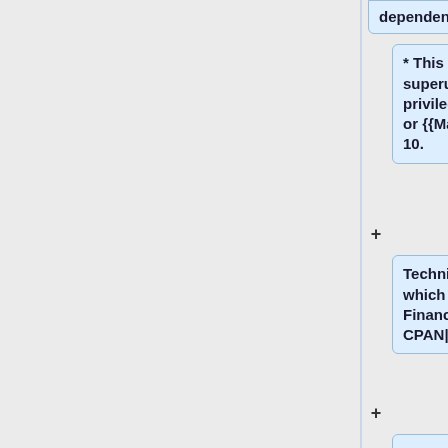dependencies.
* This program needs superuser or administrative privileges to succeed in Linux or {{Mac}} but not in Windows 10.
Technically it is a Perl script which calls [[#Installing Finance::Quote using CPAN|CPAN]].
===gnc-fq-dump===